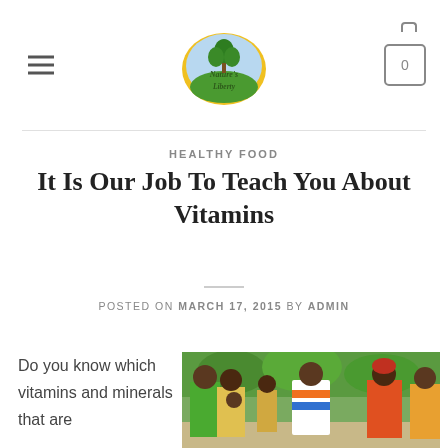[Figure (logo): Nature's Liberty circular logo with tree and green hills on blue/yellow ellipse background]
HEALTHY FOOD
It Is Our Job To Teach You About Vitamins
POSTED ON MARCH 17, 2015 BY ADMIN
Do you know which vitamins and minerals that are
[Figure (photo): Group of African people standing outdoors, men and women in colorful clothing, trees in background]